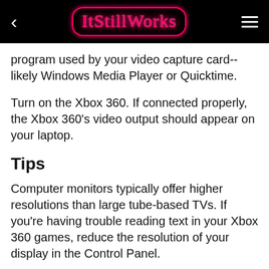ItStillWorks
program used by your video capture card--likely Windows Media Player or Quicktime.
Turn on the Xbox 360. If connected properly, the Xbox 360's video output should appear on your laptop.
Tips
Computer monitors typically offer higher resolutions than large tube-based TVs. If you're having trouble reading text in your Xbox 360 games, reduce the resolution of your display in the Control Panel.